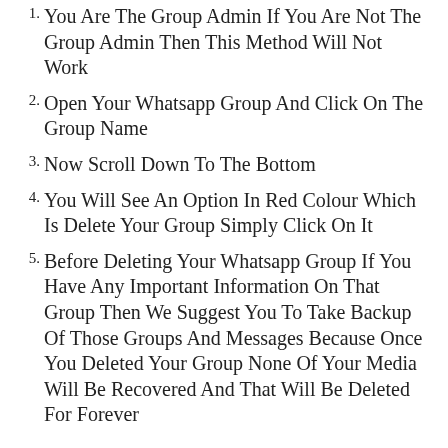1. You Are The Group Admin If You Are Not The Group Admin Then This Method Will Not Work
2. Open Your Whatsapp Group And Click On The Group Name
3. Now Scroll Down To The Bottom
4. You Will See An Option In Red Colour Which Is Delete Your Group Simply Click On It
5. Before Deleting Your Whatsapp Group If You Have Any Important Information On That Group Then We Suggest You To Take Backup Of Those Groups And Messages Because Once You Deleted Your Group None Of Your Media Will Be Recovered And That Will Be Deleted For Forever
How To Add More Than 256 Participants In The Whatsapp Group